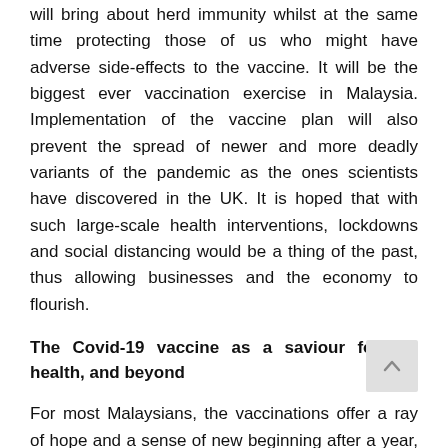will bring about herd immunity whilst at the same time protecting those of us who might have adverse side-effects to the vaccine. It will be the biggest ever vaccination exercise in Malaysia. Implementation of the vaccine plan will also prevent the spread of newer and more deadly variants of the pandemic as the ones scientists have discovered in the UK. It is hoped that with such large-scale health interventions, lockdowns and social distancing would be a thing of the past, thus allowing businesses and the economy to flourish.
The Covid-19 vaccine as a saviour for the health, and beyond
For most Malaysians, the vaccinations offer a ray of hope and a sense of new beginning after a year, many would like to forget.
Within this one year, Covid-19 did not only cause the